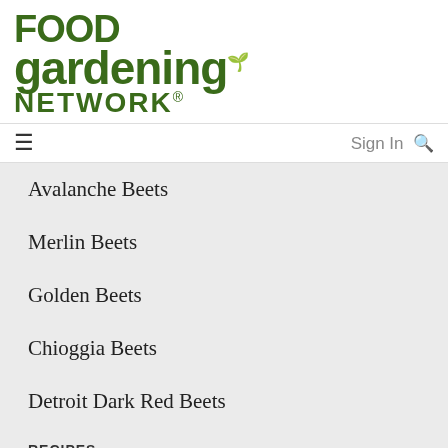[Figure (logo): Food Gardening Network logo in dark green bold text with a leaf accent]
≡   Sign In 🔍
Avalanche Beets
Merlin Beets
Golden Beets
Chioggia Beets
Detroit Dark Red Beets
RECIPES
Pickled Beets
Simple Roasted Beets
Beet Brownies
Classic Borscht (Red Beet Soup)